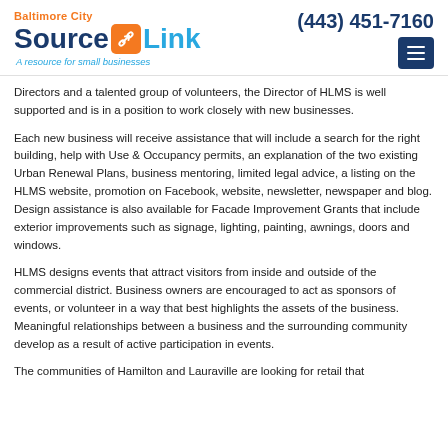Baltimore City SourceLink – A resource for small businesses | (443) 451-7160
Directors and a talented group of volunteers, the Director of HLMS is well supported and is in a position to work closely with new businesses.
Each new business will receive assistance that will include a search for the right building, help with Use & Occupancy permits, an explanation of the two existing Urban Renewal Plans, business mentoring, limited legal advice, a listing on the HLMS website, promotion on Facebook, website, newsletter, newspaper and blog. Design assistance is also available for Facade Improvement Grants that include exterior improvements such as signage, lighting, painting, awnings, doors and windows.
HLMS designs events that attract visitors from inside and outside of the commercial district. Business owners are encouraged to act as sponsors of events, or volunteer in a way that best highlights the assets of the business. Meaningful relationships between a business and the surrounding community develop as a result of active participation in events.
The communities of Hamilton and Lauraville are looking for retail that